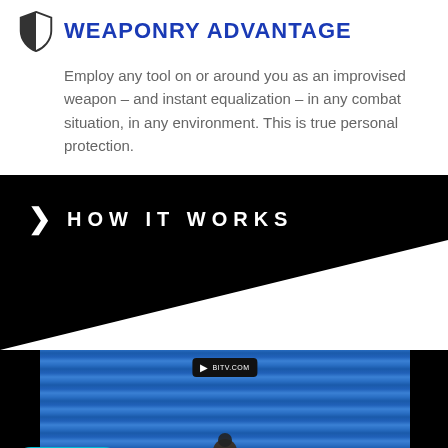WEAPONRY ADVANTAGE
Employ any tool on or around you as an improvised weapon – and instant equalization – in any combat situation, in any environment. This is true personal protection.
HOW IT WORKS
[Figure (photo): Video thumbnail showing a person in front of blue corrugated metal, with a play button overlay and a Ko-fi Donate button in the bottom left corner]